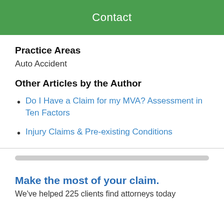Contact
Practice Areas
Auto Accident
Other Articles by the Author
Do I Have a Claim for my MVA? Assessment in Ten Factors
Injury Claims & Pre-existing Conditions
Make the most of your claim.
We've helped 225 clients find attorneys today